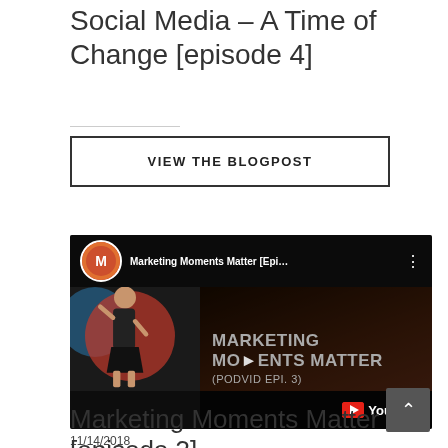Social Media – A Time of Change [episode 4]
VIEW THE BLOGPOST
[Figure (screenshot): YouTube video thumbnail for 'Marketing Moments Matter [Epi...' showing animated character with text 'MARKETING MOMENTS MATTER (PODVID EPI. 3)' and YouTube branding]
11/14/2018
Marketing Moments Matter [episode 3]